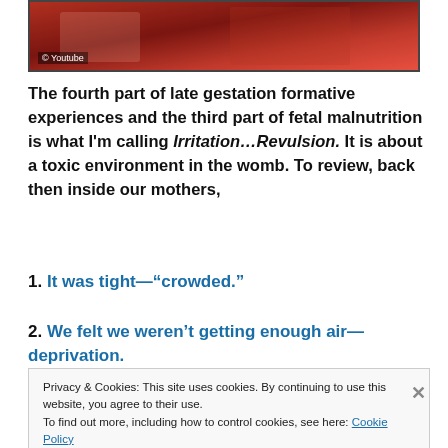[Figure (photo): Screenshot of a video thumbnail with a copyright label '© Youtube' at bottom left, showing a reddish scene.]
The fourth part of late gestation formative experiences and the third part of fetal malnutrition is what I'm calling Irritation…Revulsion. It is about a toxic environment in the womb. To review, back then inside our mothers,
1. It was tight—“crowded.”
2. We felt we weren't getting enough air—deprivation.
Privacy & Cookies: This site uses cookies. By continuing to use this website, you agree to their use.
To find out more, including how to control cookies, see here: Cookie Policy
Close and accept